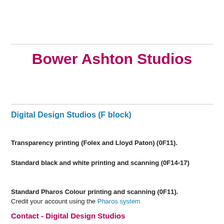Bower Ashton Studios
Digital Design Studios (F block)
Transparency printing (Folex and Lloyd Paton) (0F11).
Standard black and white printing and scanning (0F14-17)
Standard Pharos Colour printing and scanning (0F11). Credit your account using the Pharos system
Contact - Digital Design Studios